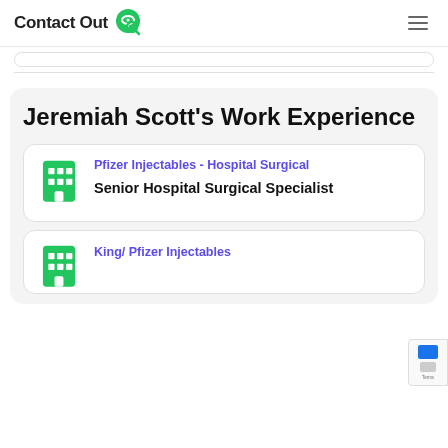ContactOut
Jeremiah Scott's Work Experience
Pfizer Injectables - Hospital Surgical
Senior Hospital Surgical Specialist
King/ Pfizer Injectables